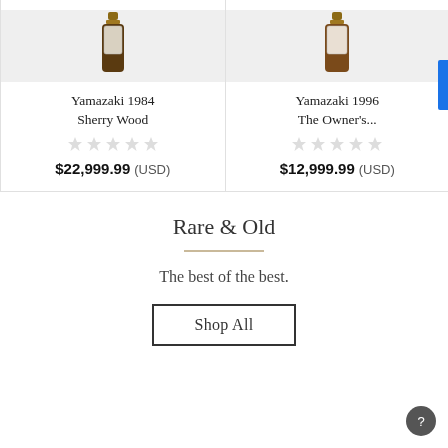[Figure (photo): Product card for Yamazaki 1984 Sherry Wood whisky bottle on grey background]
Yamazaki 1984 Sherry Wood
$22,999.99 (USD)
[Figure (photo): Product card for Yamazaki 1996 The Owner's... whisky bottle on grey background]
Yamazaki 1996 The Owner's...
$12,999.99 (USD)
Rare & Old
The best of the best.
Shop All